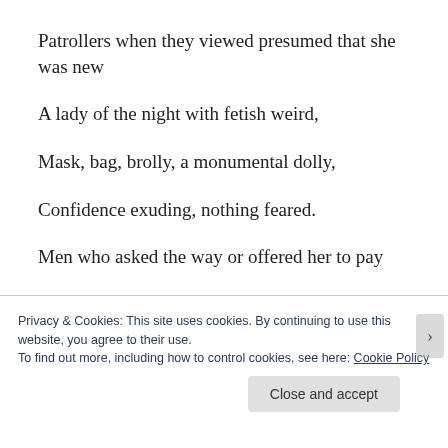Patrollers when they viewed presumed that she was new
A lady of the night with fetish weird,
Mask, bag, brolly, a monumental dolly,
Confidence exuding, nothing feared.
Men who asked the way or offered her to pay
Were directed to the ladies, caution told
Privacy & Cookies: This site uses cookies. By continuing to use this website, you agree to their use.
To find out more, including how to control cookies, see here: Cookie Policy
Close and accept